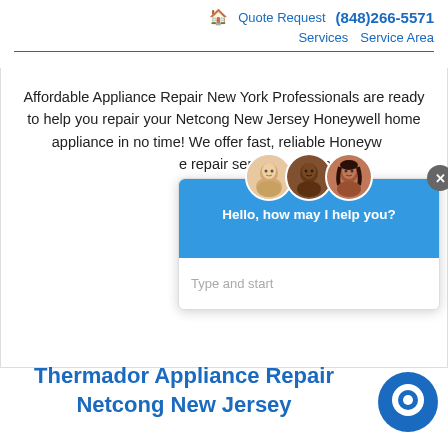🏠 Quote Request (848)266-5571 Services Service Area
Affordable Appliance Repair New York Professionals are ready to help you repair your Netcong New Jersey Honeywell home appliance in no time! We offer fast, reliable Honeywell appliance repair services. When
[Figure (screenshot): Chat widget overlay with three avatar photos, blue header with greeting 'Hello, how may I help you?', and a text input area with placeholder 'Type and start'. A grey close button (X) is in the top right corner.]
Thermador Appliance Repair Netcong New Jersey